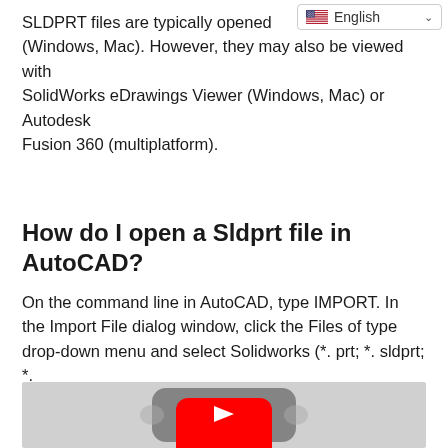[Figure (screenshot): Language selector dropdown showing US flag and 'English' text with a chevron]
SLDPRT files are typically opened (Windows, Mac). However, they may also be viewed with SolidWorks eDrawings Viewer (Windows, Mac) or Autodesk Fusion 360 (multiplatform).
How do I open a Sldprt file in AutoCAD?
On the command line in AutoCAD, type IMPORT. In the Import File dialog window, click the Files of type drop-down menu and select Solidworks (*. prt; *. sldprt; *.
[Figure (screenshot): YouTube video embed placeholder showing the YouTube play button logo on a gray background]